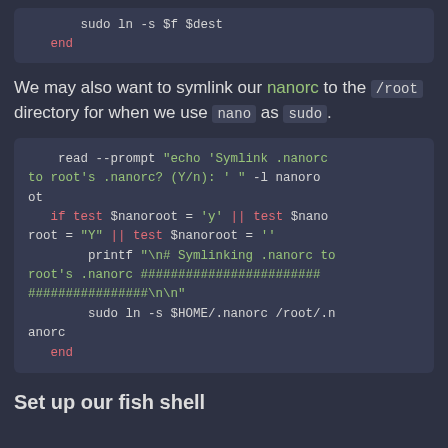[Figure (screenshot): Code block showing: sudo ln -s $f $dest and end]
We may also want to symlink our nanorc to the /root directory for when we use nano as sudo.
[Figure (screenshot): Code block showing fish shell script: read --prompt, if test conditions, printf Symlinking .nanorc, sudo ln -s $HOME/.nanorc /root/.nanorc, end]
Set up our fish shell